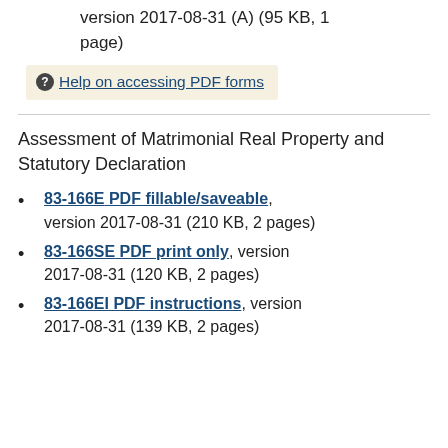version 2017-08-31 (A) (95 KB, 1 page)
Help on accessing PDF forms
Assessment of Matrimonial Real Property and Statutory Declaration
83-166E PDF fillable/saveable, version 2017-08-31 (210 KB, 2 pages)
83-166SE PDF print only, version 2017-08-31 (120 KB, 2 pages)
83-166EI PDF instructions, version 2017-08-31 (139 KB, 2 pages)